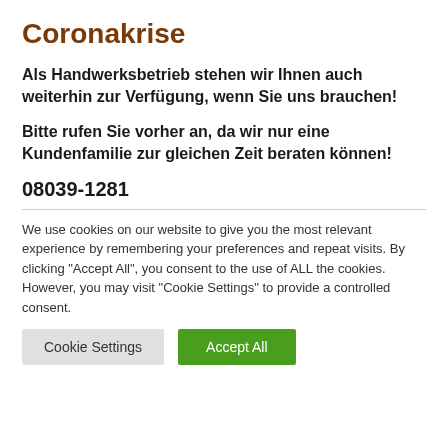Coronakrise
Als Handwerksbetrieb stehen wir Ihnen auch weiterhin zur Verfügung, wenn Sie uns brauchen!
Bitte rufen Sie vorher an, da wir nur eine Kundenfamilie zur gleichen Zeit beraten können!
08039-1281
We use cookies on our website to give you the most relevant experience by remembering your preferences and repeat visits. By clicking "Accept All", you consent to the use of ALL the cookies. However, you may visit "Cookie Settings" to provide a controlled consent.
Cookie Settings | Accept All